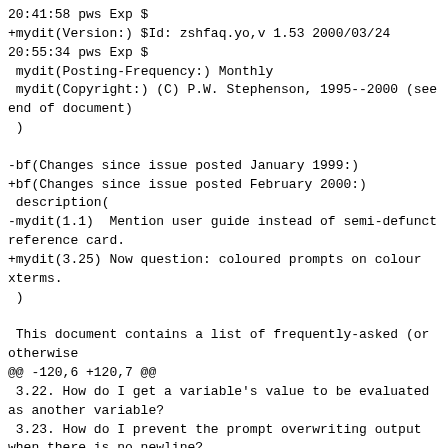20:41:58 pws Exp $
+mydit(Version:) $Id: zshfaq.yo,v 1.53 2000/03/24
20:55:34 pws Exp $
 mydit(Posting-Frequency:) Monthly
 mydit(Copyright:) (C) P.W. Stephenson, 1995--2000 (see
end of document)
 )

-bf(Changes since issue posted January 1999:)
+bf(Changes since issue posted February 2000:)
 description(
-mydit(1.1)  Mention user guide instead of semi-defunct
reference card.
+mydit(3.25) Now question: coloured prompts on colour
xterms.
 )

 This document contains a list of frequently-asked (or
otherwise
@@ -120,6 +120,7 @@
 3.22. How do I get a variable's value to be evaluated
as another variable?
 3.23. How do I prevent the prompt overwriting output
when there is no newline?
 3.24. What's wrong with cut and paste on my xterm?
+3.25. How do I get coloured prompts on my colour
xterm?

 Chapter 4:  The mysteries of completion
 4.1. What is completion?